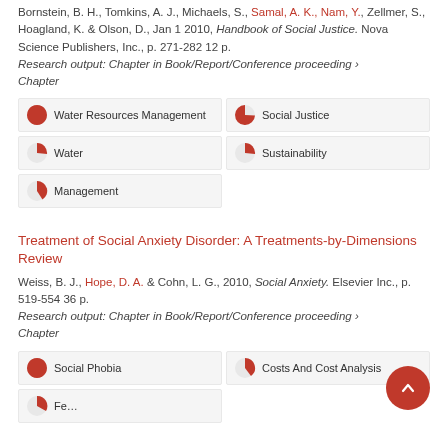Bornstein, B. H., Tomkins, A. J., Michaels, S., Samal, A. K., Nam, Y., Zellmer, S., Hoagland, K. & Olson, D., Jan 1 2010, Handbook of Social Justice. Nova Science Publishers, Inc., p. 271-282 12 p. Research output: Chapter in Book/Report/Conference proceeding › Chapter
[Figure (infographic): Keyword badges with pie chart icons: Water Resources Management (100%), Social Justice (65%), Water (55%), Sustainability (55%), Management (25%)]
Treatment of Social Anxiety Disorder: A Treatments-by-Dimensions Review
Weiss, B. J., Hope, D. A. & Cohn, L. G., 2010, Social Anxiety. Elsevier Inc., p. 519-554 36 p. Research output: Chapter in Book/Report/Conference proceeding › Chapter
[Figure (infographic): Keyword badges with pie chart icons: Social Phobia (100%), Costs And Cost Analysis (35%), Fear (partial visible)]